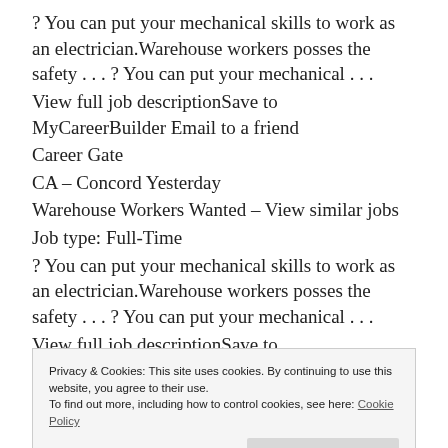? You can put your mechanical skills to work as an electrician.Warehouse workers posses the safety . . . ? You can put your mechanical . . .
View full job descriptionSave to MyCareerBuilder Email to a friend
Career Gate
CA – Concord Yesterday
Warehouse Workers Wanted – View similar jobs
Job type: Full-Time
? You can put your mechanical skills to work as an electrician.Warehouse workers posses the safety . . . ? You can put your mechanical . . .
View full job descriptionSave to MyCareerBuilder Email to a friend
Privacy & Cookies: This site uses cookies. By continuing to use this website, you agree to their use.
To find out more, including how to control cookies, see here: Cookie Policy
? You can put your mechanical skills to work as an